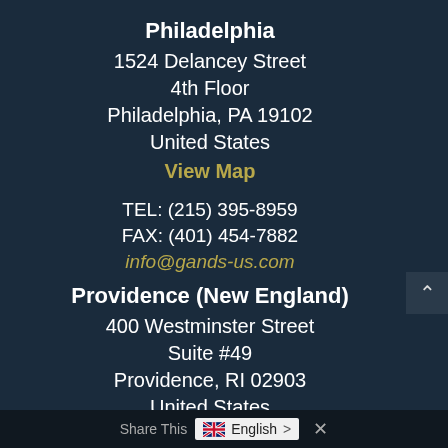Philadelphia
1524 Delancey Street
4th Floor
Philadelphia, PA 19102
United States
View Map
TEL: (215) 395-8959
FAX: (401) 454-7882
info@gands-us.com
Providence (New England)
400 Westminster Street
Suite #49
Providence, RI 02903
United States
View Map
Share This  English